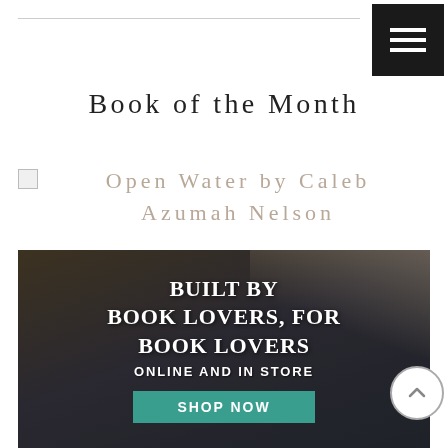[Figure (other): Hamburger menu button — black square with three white horizontal bars — in top right corner]
Book of the Month
[Figure (other): Broken image placeholder followed by italic tan/beige text reading: Open Water by Caleb Azumah Nelson]
[Figure (photo): Dark photographic advertisement banner showing open book with text: BUILT BY BOOK LOVERS, FOR BOOK LOVERS ONLINE AND IN STORE, with a teal SHOP NOW button at the bottom]
[Figure (other): Scroll-up button — circle with upward chevron arrow — in bottom right corner]